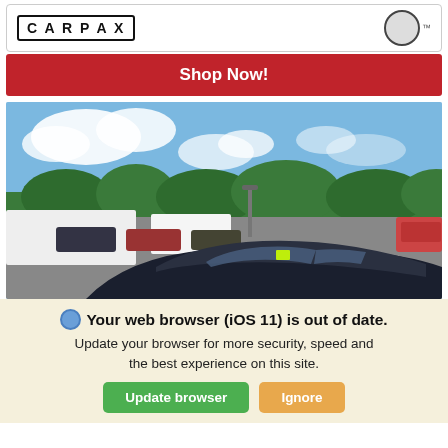[Figure (logo): CARPAX logo and circular brand logo on white bar]
Shop Now!
[Figure (photo): Car dealership lot with a dark sedan in foreground, various vehicles and trucks in background, trees and blue sky with clouds]
Your web browser (iOS 11) is out of date. Update your browser for more security, speed and the best experience on this site.
Update browser
Ignore